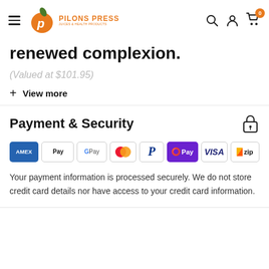Pilons Press — Juices & Health Products
renewed complexion.
(Valued at $101.95)
+ View more
Payment & Security
[Figure (logo): Payment method icons: American Express, Apple Pay, Google Pay, Mastercard, PayPal, OPay, Visa, Zip]
Your payment information is processed securely. We do not store credit card details nor have access to your credit card information.